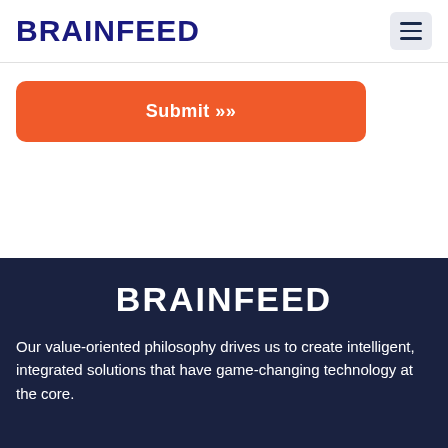BRAINFEED
[Figure (other): Hamburger menu icon button]
[Figure (other): Orange submit button with text Submit >>]
BRAINFEED
Our value-oriented philosophy drives us to create intelligent, integrated solutions that have game-changing technology at the core.